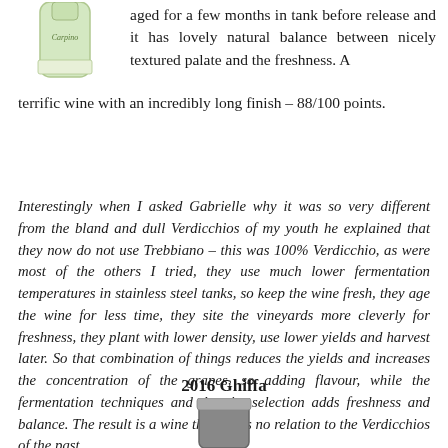[Figure (photo): Bottle of wine (Carpino or similar white wine) shown partially at top left]
aged for a few months in tank before release and it has lovely natural balance between nicely textured palate and the freshness. A terrific wine with an incredibly long finish – 88/100 points.
Interestingly when I asked Gabrielle why it was so very different from the bland and dull Verdicchios of my youth he explained that they now do not use Trebbiano – this was 100% Verdicchio, as were most of the others I tried, they use much lower fermentation temperatures in stainless steel tanks, so keep the wine fresh, they age the wine for less time, they site the vineyards more cleverly for freshness, they plant with lower density, use lower yields and harvest later. So that combination of things reduces the yields and increases the concentration of the grapes, so adding flavour, while the fermentation techniques and the site selection adds freshness and balance. The result is a wine that bears no relation to the Verdicchios of the past.
2016 Ghiffa
[Figure (photo): Bottom portion of a wine bottle visible at bottom left]